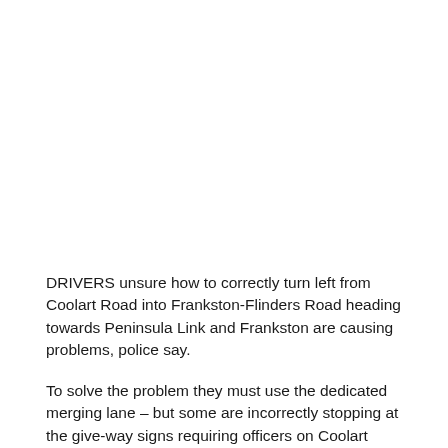DRIVERS unsure how to correctly turn left from Coolart Road into Frankston-Flinders Road heading towards Peninsula Link and Frankston are causing problems, police say.
To solve the problem they must use the dedicated merging lane – but some are incorrectly stopping at the give-way signs requiring officers on Coolart Road to hold back from the